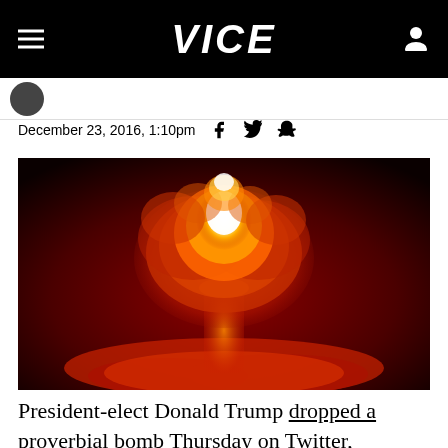VICE
December 23, 2016, 1:10pm
[Figure (photo): Nuclear explosion mushroom cloud with bright white and orange center against a dark red background]
President-elect Donald Trump dropped a proverbial bomb Thursday on Twitter, declaring